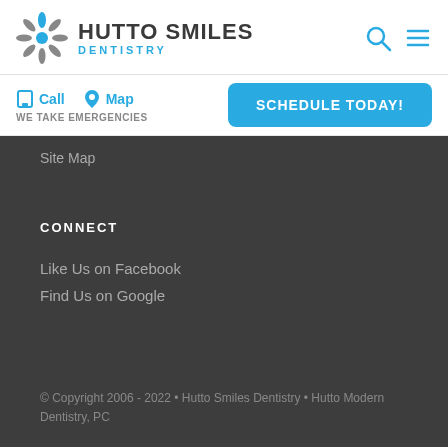[Figure (logo): Hutto Smiles Dentistry logo with starburst/tooth icon in gray and blue]
HUTTO SMILES DENTISTRY
Call
Map
WE TAKE EMERGENCIES
SCHEDULE TODAY!
Site Map
CONNECT
Like Us on Facebook
Find Us on Google
© Copyright 2006 - 2022 • Hutto Smiles Dentistry • Hutto Modern Dentistry, PC